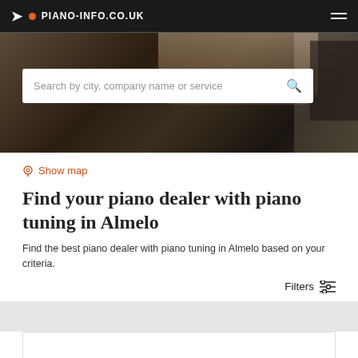PIANO-INFO.CO.UK
[Figure (screenshot): Hero background image of piano keys and hands]
Search by city, company name or service
Show map
Find your piano dealer with piano tuning in Almelo
Find the best piano dealer with piano tuning in Almelo based on your criteria.
Filters